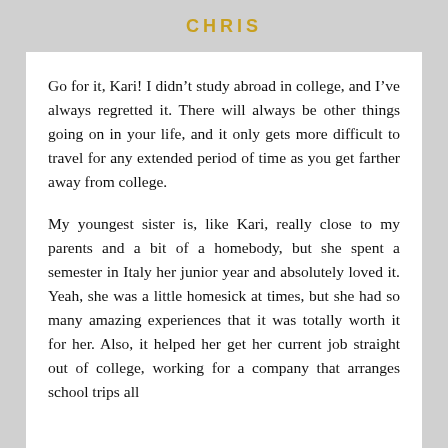CHRIS
Go for it, Kari! I didn't study abroad in college, and I've always regretted it. There will always be other things going on in your life, and it only gets more difficult to travel for any extended period of time as you get farther away from college.
My youngest sister is, like Kari, really close to my parents and a bit of a homebody, but she spent a semester in Italy her junior year and absolutely loved it. Yeah, she was a little homesick at times, but she had so many amazing experiences that it was totally worth it for her. Also, it helped her get her current job straight out of college, working for a company that arranges school trips all